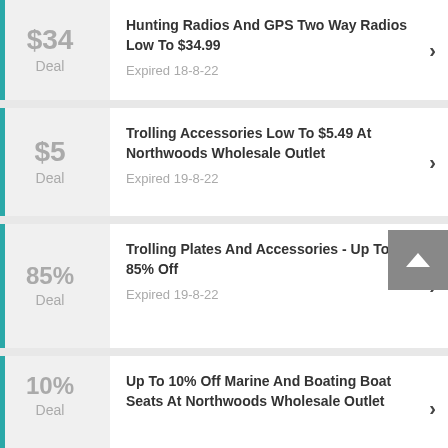$34 Deal — Hunting Radios And GPS Two Way Radios Low To $34.99 — Expired 18-8-22
$5 Deal — Trolling Accessories Low To $5.49 At Northwoods Wholesale Outlet — Expired 19-8-22
85% Deal — Trolling Plates And Accessories - Up To 85% Off — Expired 19-8-22
10% Deal — Up To 10% Off Marine And Boating Boat Seats At Northwoods Wholesale Outlet — Expired (partially visible)